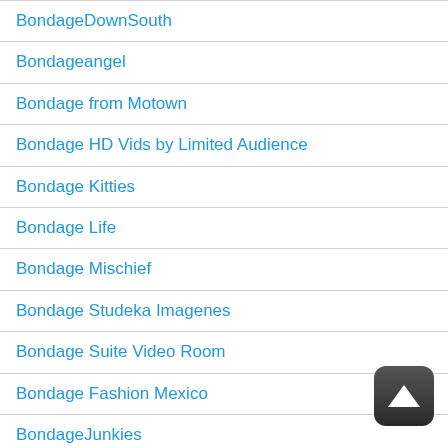BondageDownSouth
Bondageangel
Bondage from Motown
Bondage HD Vids by Limited Audience
Bondage Kitties
Bondage Life
Bondage Mischief
Bondage Studeka Imagenes
Bondage Suite Video Room
Bondage Fashion Mexico
BondageJunkies
Born to be Bound